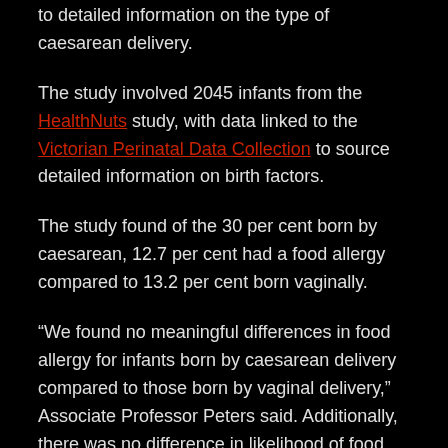to detailed information on the type of caesarean delivery.
The study involved 2045 infants from the HealthNuts study, with data linked to the Victorian Perinatal Data Collection to source detailed information on birth factors.
The study found of the 30 per cent born by caesarean, 12.7 per cent had a food allergy compared to 13.2 per cent born vaginally.
“We found no meaningful differences in food allergy for infants born by caesarean delivery compared to those born by vaginal delivery,” Associate Professor Peters said. Additionally, there was no difference in likelihood of food allergy if the caesarean was performed before or